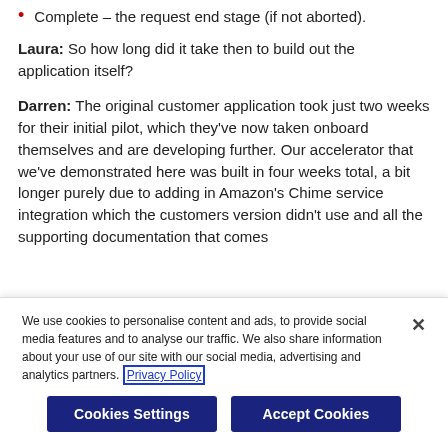Complete – the request end stage (if not aborted).
Laura: So how long did it take then to build out the application itself?
Darren: The original customer application took just two weeks for their initial pilot, which they've now taken onboard themselves and are developing further. Our accelerator that we've demonstrated here was built in four weeks total, a bit longer purely due to adding in Amazon's Chime service integration which the customers version didn't use and all the supporting documentation that comes
We use cookies to personalise content and ads, to provide social media features and to analyse our traffic. We also share information about your use of our site with our social media, advertising and analytics partners. Privacy Policy
Cookies Settings
Accept Cookies